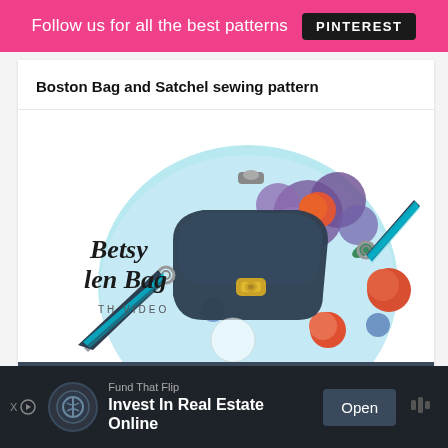Follow us for all the best patterns PINTEREST
Boston Bag and Satchel sewing pattern
[Figure (photo): Photo of Betsy Bowler Bag (Betsy Len Bag with TH VIDEO label) – a floral fabric crossbody bag with dark navy leather trim, twist lock clasp, and striped teal/navy strap against white background. Overlaid with 'Betsy Len Bag' cursive text and 'TH VIDEO' text. Below the image is a dark navy banner reading 'SEWING PATTERN'.]
Betsy Bowler Bag sewing pattern (with videos)
Fund That Flip
Invest In Real Estate Online
Open